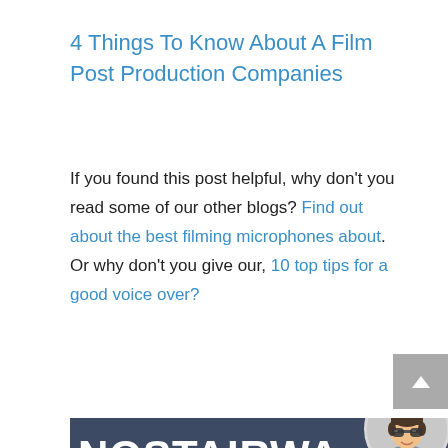4 Things To Know About A Film Post Production Companies
If you found this post helpful, why don't you read some of our other blogs? Find out about the best filming microphones about. Or why don't you give our, 10 top tips for a good voice over?
[Figure (logo): Nostairway Creative logo banner with cartoon avatar icon — dark blue-grey background with white bold text reading 'NOSTAIRWA' on top line and '// CREATIVE' on bottom line, with a circular avatar of an animated character with dark hair and sunglasses on the right side]